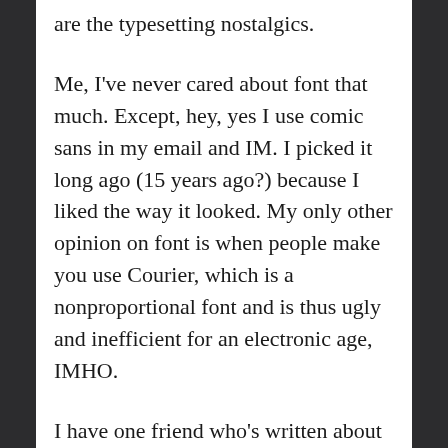are the typesetting nostalgics.
Me, I've never cared about font that much. Except, hey, yes I use comic sans in my email and IM. I picked it long ago (15 years ago?) because I liked the way it looked. My only other opinion on font is when people make you use Courier, which is a nonproportional font and is thus ugly and inefficient for an electronic age, IMHO.
I have one friend who's written about her father being a typesetter and the smell of ink, but I'm not sure she cares so much about font. Another friend gets really excited about font and spends a fair amount of time on which